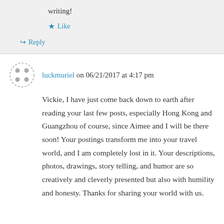writing!
★ Like
↳ Reply
luckmuriel on 06/21/2017 at 4:17 pm
Vickie, I have just come back down to earth after reading your last few posts, especially Hong Kong and Guangzhou of course, since Aimee and I will be there soon! Your postings transform me into your travel world, and I am completely lost in it. Your descriptions, photos, drawings, story telling, and humor are so creatively and cleverly presented but also with humility and honesty. Thanks for sharing your world with us.